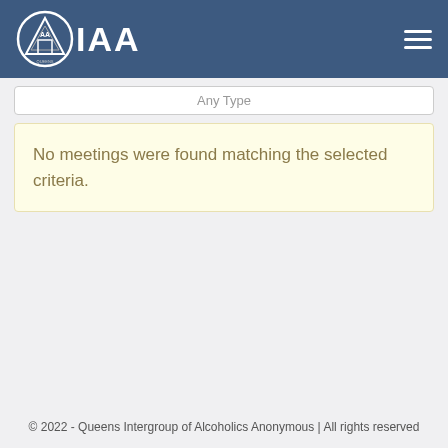QIAA
Any Type
No meetings were found matching the selected criteria.
© 2022 - Queens Intergroup of Alcoholics Anonymous | All rights reserved